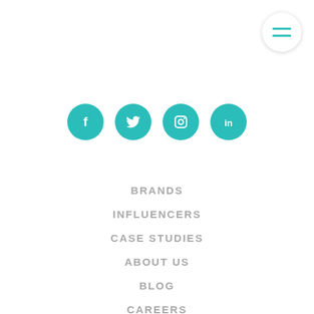[Figure (illustration): Hamburger menu button icon - circle with two horizontal teal lines, white background with shadow]
[Figure (illustration): Four teal circular social media icons: Facebook, Twitter, Instagram, LinkedIn]
BRANDS
INFLUENCERS
CASE STUDIES
ABOUT US
BLOG
CAREERS
CONTACT US
TERMS OF SERVICE
PRIVACY POLICY
GENERAL SWEEPSTAKES TOS